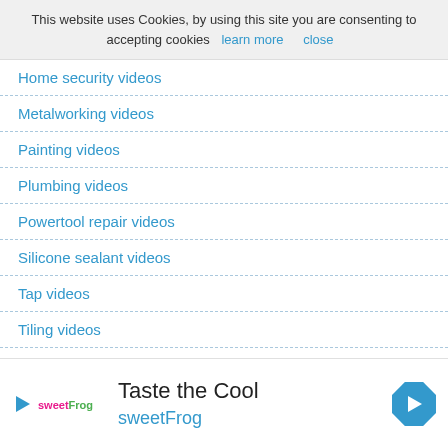This website uses Cookies, by using this site you are consenting to accepting cookies  learn more    close
Home security videos
Metalworking videos
Painting videos
Plumbing videos
Powertool repair videos
Silicone sealant videos
Tap videos
Tiling videos
Toilet videos
Tool videos
review videos
[Figure (infographic): Advertisement banner for sweetFrog with logo, 'Taste the Cool' text, sweetFrog brand name in blue, navigation arrow icon]